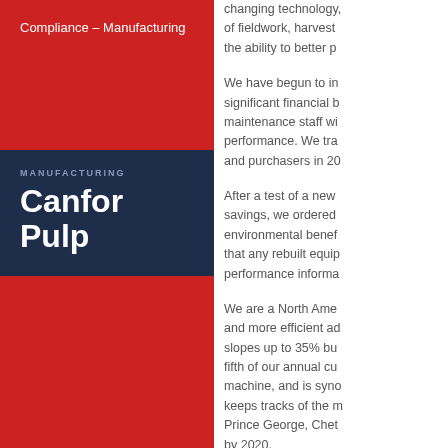Compliance – Manufacturing
MANUFACTURING
Canfor Pulp
changing technology, of fieldwork, harvesting, the ability to better p...
We have begun to in significant financial b maintenance staff wi performance. We tra and purchasers in 20...
After a test of a new savings, we ordered environmental benef that any rebuilt equip performance informa...
We are a North Ame and more efficient ad slopes up to 35% bu fifth of our annual cu machine, and is syno keeps tracks of the m Prince George, Chet by 2020.